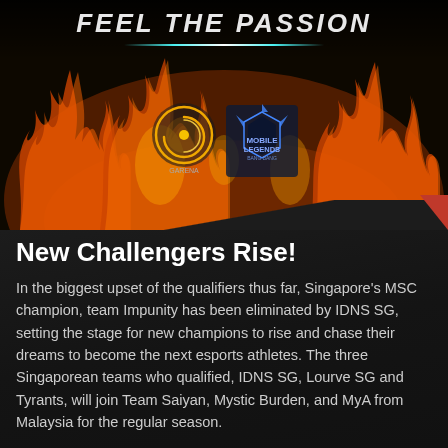[Figure (photo): Dark background banner with fire/flames imagery, Mobile Legends Bang Bang logo and another circular logo, with text 'FEEL THE PASSION' at the top and a decorative horizontal line beneath it.]
New Challengers Rise!
In the biggest upset of the qualifiers thus far, Singapore's MSC champion, team Impunity has been eliminated by IDNS SG, setting the stage for new champions to rise and chase their dreams to become the next esports athletes. The three Singaporean teams who qualified, IDNS SG, Lourve SG and Tyrants, will join Team Saiyan, Mystic Burden, and MyA from Malaysia for the regular season.
Complete Bracket